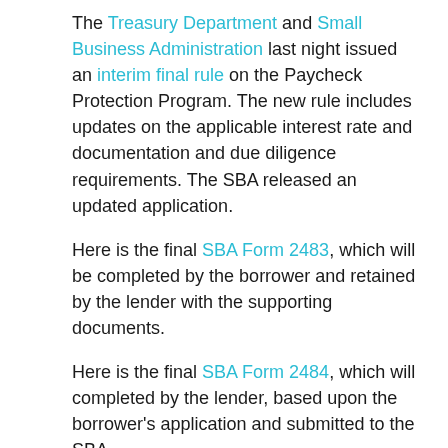The Treasury Department and Small Business Administration last night issued an interim final rule on the Paycheck Protection Program. The new rule includes updates on the applicable interest rate and documentation and due diligence requirements. The SBA released an updated application.
Here is the final SBA Form 2483, which will be completed by the borrower and retained by the lender with the supporting documents.
Here is the final SBA Form 2484, which will completed by the lender, based upon the borrower's application and submitted to the SBA.
Section 1106 of the CARES Act provides for forgiveness of up to the full principal amount of qualifying loans guaranteed under the Paycheck Protection Program. The Paycheck Protection Program and loan forgiveness are intended to provide economic relief to small businesses nationwide adversely impacted under the COVID-19 Emergency Declaration issued by President Trump on